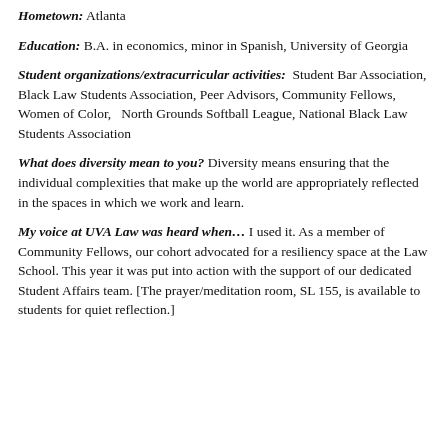Hometown: Atlanta
Education: B.A. in economics, minor in Spanish, University of Georgia
Student organizations/extracurricular activities: Student Bar Association, Black Law Students Association, Peer Advisors, Community Fellows, Women of Color, North Grounds Softball League, National Black Law Students Association
What does diversity mean to you? Diversity means ensuring that the individual complexities that make up the world are appropriately reflected in the spaces in which we work and learn.
My voice at UVA Law was heard when… I used it. As a member of Community Fellows, our cohort advocated for a resiliency space at the Law School. This year it was put into action with the support of our dedicated Student Affairs team. [The prayer/meditation room, SL 155, is available to students for quiet reflection.]